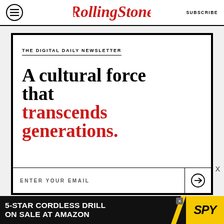Rolling Stone | SUBSCRIBE
THE DIGITAL DAILY NEWSLETTER
A cultural force that transcends generations.
ENTER YOUR EMAIL
[Figure (infographic): 5-STAR CORDLESS DRILL ON SALE AT AMAZON | SPY advertisement banner]
X